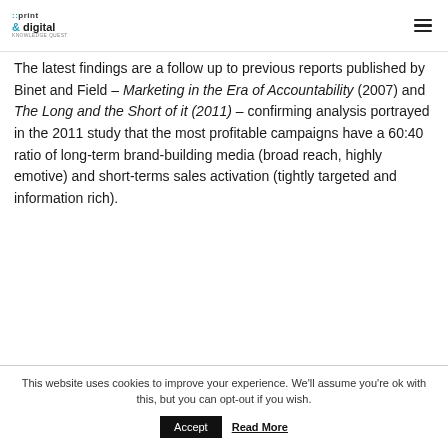::print & digital — knowledge quest
The latest findings are a follow up to previous reports published by Binet and Field – Marketing in the Era of Accountability (2007) and The Long and the Short of it (2011) – confirming analysis portrayed in the 2011 study that the most profitable campaigns have a 60:40 ratio of long-term brand-building media (broad reach, highly emotive) and short-terms sales activation (tightly targeted and information rich).
This website uses cookies to improve your experience. We'll assume you're ok with this, but you can opt-out if you wish.
Accept  Read More